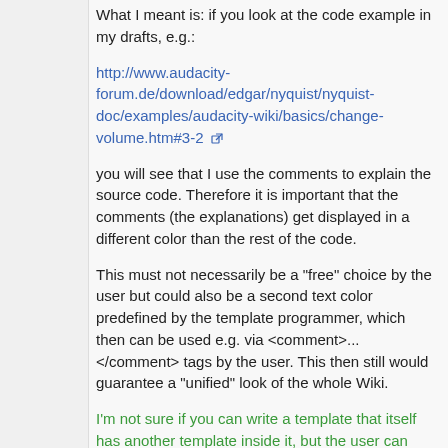What I meant is: if you look at the code example in my drafts, e.g.:
http://www.audacity-forum.de/download/edgar/nyquist/nyquist-doc/examples/audacity-wiki/basics/change-volume.htm#3-2
you will see that I use the comments to explain the source code. Therefore it is important that the comments (the explanations) get displayed in a different color than the rest of the code.
This must not necessarily be a "free" choice by the user but could also be a second text color predefined by the template programmer, which then can be used e.g. via <comment>...</comment> tags by the user. This then still would guarantee a "unified" look of the whole Wiki.
I'm not sure if you can write a template that itself has another template inside it, but the user can himself employ, say, the code template then nest another existing template inside it (like the case when the Intro template is used and the external template is used...